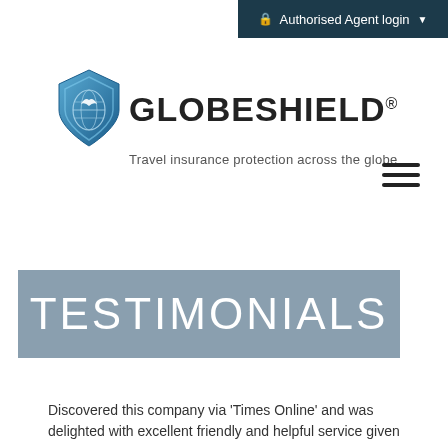🔒 Authorised Agent login ▼
[Figure (logo): GlobeShield shield logo with globe and bird graphic in blue tones]
GLOBESHIELD®
Travel insurance protection across the globe
[Figure (other): Hamburger menu icon (three horizontal lines)]
TESTIMONIALS
Discovered this company via 'Times Online' and was delighted with excellent friendly and helpful service given